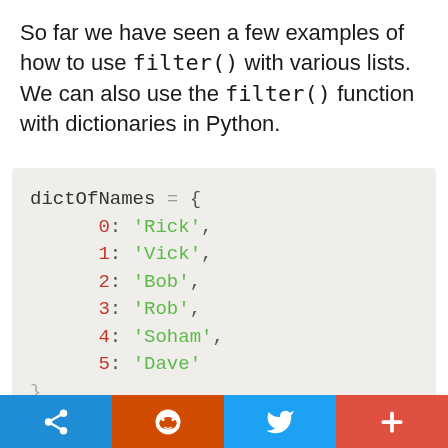So far we have seen a few examples of how to use filter() with various lists. We can also use the filter() function with dictionaries in Python.
[Figure (screenshot): Python code block showing dictOfNames dictionary with keys 0-5 mapping to names Rick, Vick, Bob, Rob, Soham, Dave on a light beige background]
Social share buttons: link, Reddit, Twitter, plus